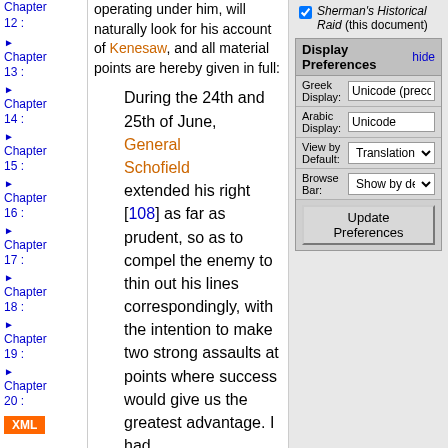Chapter 12 :
Chapter 13 :
Chapter 14 :
Chapter 15 :
Chapter 16 :
Chapter 17 :
Chapter 18 :
Chapter 19 :
Chapter 20 :
XML
operating under him, will naturally look for his account of Kenesaw, and all material points are hereby given in full:
During the 24th and 25th of June, General Schofield extended his right [108] as far as prudent, so as to compel the enemy to thin out his lines correspondingly, with the intention to make two strong assaults at points where success would give us the greatest advantage. I had
Sherman's Historical Raid (this document)
Display Preferences
Greek Display: Unicode (precombined
Arabic Display: Unicode
View by Default: Translation
Browse Bar: Show by default
Update Preferences